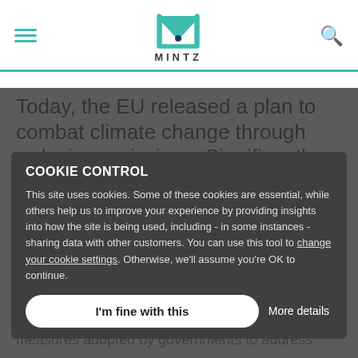MINTZ
Today, the EU released a plan to combat climate change through reducing emissions. Significantly, key elements of this plan include increasing the costs on businesses whose activities contribute to climate change, even when those activities occur outside of the European Union. Although property companies may face significant new obligations to reach of the EU's economy suggest that these
COOKIE CONTROL
This site uses cookies. Some of these cookies are essential, while others help us to improve your experience by providing insights into how the site is being used, including - in some instances - sharing data with other customers. You can use this tool to change your cookie settings. Otherwise, we'll assume you're OK to continue.
I'm fine with this
More details
Climate change represents a global threat and measures adopted by governments to address